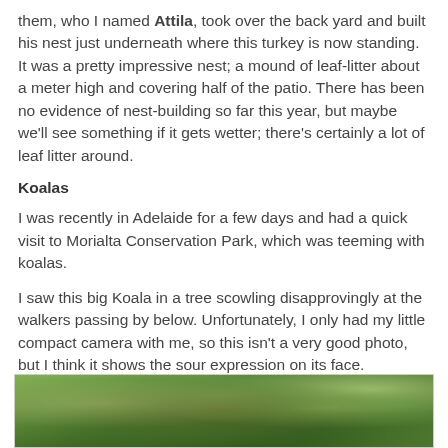them, who I named Attila, took over the back yard and built his nest just underneath where this turkey is now standing. It was a pretty impressive nest; a mound of leaf-litter about a meter high and covering half of the patio. There has been no evidence of nest-building so far this year, but maybe we'll see something if it gets wetter; there's certainly a lot of leaf litter around.
Koalas
I was recently in Adelaide for a few days and had a quick visit to Morialta Conservation Park, which was teeming with koalas.
I saw this big Koala in a tree scowling disapprovingly at the walkers passing by below. Unfortunately, I only had my little compact camera with me, so this isn't a very good photo, but I think it shows the sour expression on its face.
[Figure (photo): Photo of a koala in a tree with green foliage visible, taken from below.]